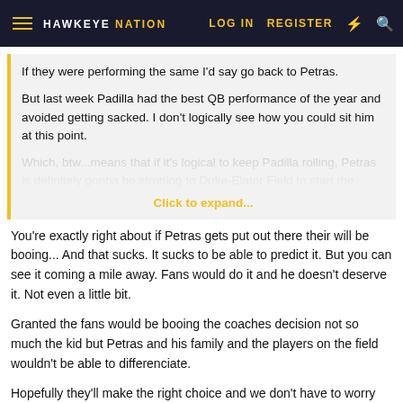HAWKEYE NATION  LOG IN  REGISTER
If they were performing the same I'd say go back to Petras.

But last week Padilla had the best QB performance of the year and avoided getting sacked. I don't logically see how you could sit him at this point.
Which, btw...means that if it's logical to keep Padilla rolling, Petras is definitely gonna be strutting to Duke-Elator Field to start the
Click to expand...
You're exactly right about if Petras gets put out there their will be booing... And that sucks. It sucks to be able to predict it. But you can see it coming a mile away. Fans would do it and he doesn't deserve it. Not even a little bit.
Granted the fans would be booing the coaches decision not so much the kid but Petras and his family and the players on the field wouldn't be able to differenciate.
Hopefully they'll make the right choice and we don't have to worry about it.